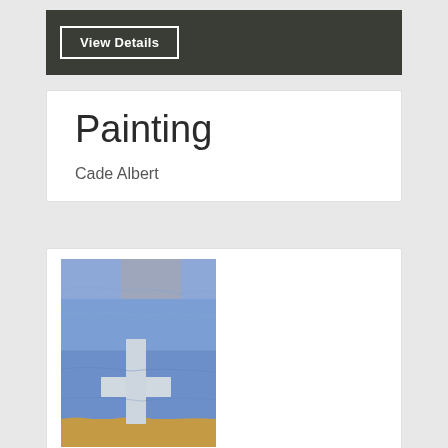[Figure (screenshot): Dark bar with 'View Details' button outlined in white]
Painting
Cade Albert
[Figure (photo): A painting of a white cross against a blue sky background with tan/golden ground at the bottom]